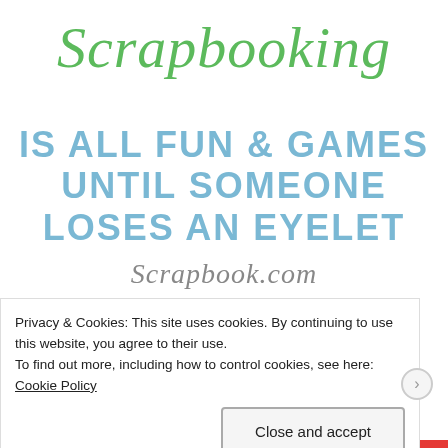Scrapbooking
IS ALL FUN & GAMES UNTIL SOMEONE LOSES AN EYELET
Scrapbook.com
[Figure (screenshot): Teal/green banner strip with large faded white letters partially visible, appearing to show 'CONCORD & 9TH' or similar brand text]
Privacy & Cookies: This site uses cookies. By continuing to use this website, you agree to their use. To find out more, including how to control cookies, see here: Cookie Policy
Close and accept